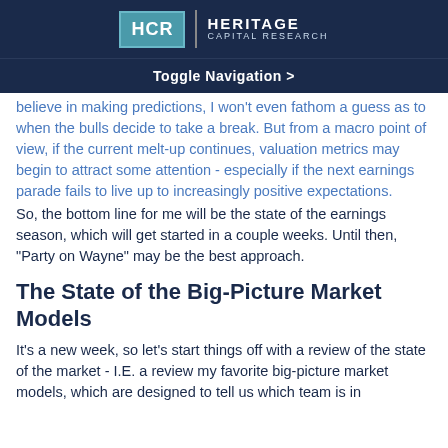[Figure (logo): HCR Heritage Capital Research logo with teal square and dark navy background]
Toggle Navigation >
believe in making predictions, I won't even fathom a guess as to when the bulls decide to take a break. But from a macro point of view, if the current melt-up continues, valuation metrics may begin to attract some attention - especially if the next earnings parade fails to live up to increasingly positive expectations.
So, the bottom line for me will be the state of the earnings season, which will get started in a couple weeks. Until then, "Party on Wayne" may be the best approach.
The State of the Big-Picture Market Models
It's a new week, so let's start things off with a review of the state of the market - I.E. a review my favorite big-picture market models, which are designed to tell us which team is in